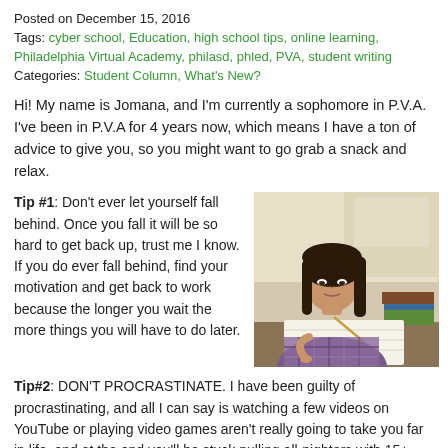Posted on December 15, 2016
Tags: cyber school, Education, high school tips, online learning, Philadelphia Virtual Academy, philasd, phled, PVA, student writing
Categories: Student Column, What's New?
Hi! My name is Jomana, and I'm currently a sophomore in P.V.A. I've been in P.V.A for 4 years now, which means I have a ton of advice to give you, so you might want to go grab a snack and relax.
Tip #1: Don't ever let yourself fall behind. Once you fall it will be so hard to get back up, trust me I know. If you do ever fall behind, find your motivation and get back to work because the longer you wait the more things you will have to do later.
[Figure (photo): A teenage girl studying, writing in a notebook with books stacked nearby]
Tip#2: DON'T PROCRASTINATE. I have been guilty of procrastinating, and all I can say is watching a few videos on YouTube or playing video games aren't really going to take you far in life, and at the end you'll be stuck pulling all-nighters with 15+ assignment in each course and only a few days to finish. If you ever find yourself procrastinating just think about all the unpleasant consequences of doing your task,